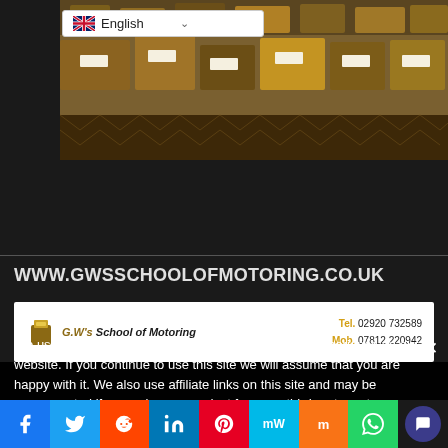[Figure (screenshot): Market stall with goods displayed, with English language selector overlay in top-left corner]
WWW.GWSSCHOOLOFMOTORING.CO.UK
[Figure (screenshot): GW's School of Motoring website header showing logo and contact details: Tel. 02920 732589, Mob. 07812 220942]
We use cookies to ensure that we give you the best experience on our website. If you continue to use this site we will assume that you are happy with it. We also use affiliate links on this site and may be compensated if a user buys a product from our third party partners. "As an Amazon Associate I earn from qualifying purchases". Please check our privacy policy for more information.
Ok
Privacy policy
f  Twitter  Reddit  in  Pinterest  mW  Mix  WhatsApp  Chat